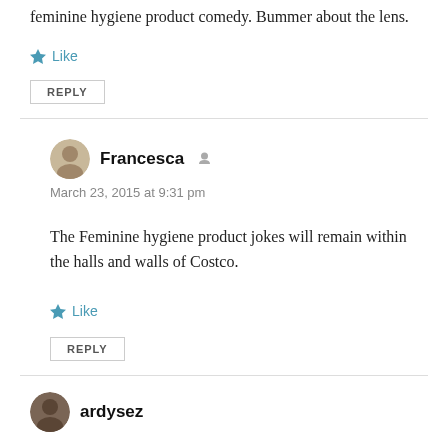feminine hygiene product comedy. Bummer about the lens.
Like
REPLY
Francesca
March 23, 2015 at 9:31 pm
The Feminine hygiene product jokes will remain within the halls and walls of Costco.
Like
REPLY
ardysez